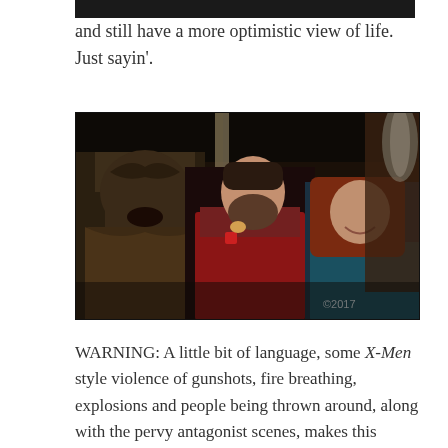and still have a more optimistic view of life. Just sayin'.
[Figure (photo): A still from a TV show (Star Trek: The Next Generation) showing three characters — a Klingon in costume on the left, a man in a red Starfleet uniform in the center, and a woman with red hair in a teal outfit on the right. Dark indoor setting.]
WARNING: A little bit of language, some X-Men style violence of gunshots, fire breathing, explosions and people being thrown around, along with the pervy antagonist scenes, makes this suitable really for older teens and up only. If you were comfortable with your kids seeing X-Men, this would likely be fine.